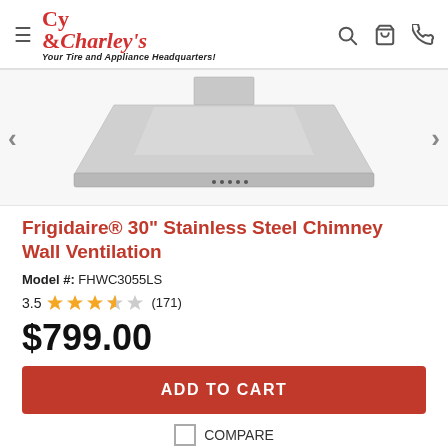Cy & Charley's — Your Tire and Appliance Headquarters!
[Figure (photo): Stainless steel chimney wall ventilation hood, trapezoidal shape, viewed from front, light gray background]
Frigidaire® 30" Stainless Steel Chimney Wall Ventilation
Model #: FHWC3055LS
3.5 ★★★★☆ (171)
$799.00
ADD TO CART
COMPARE